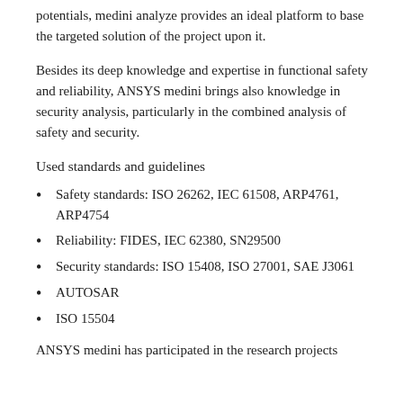potentials, medini analyze provides an ideal platform to base the targeted solution of the project upon it.
Besides its deep knowledge and expertise in functional safety and reliability, ANSYS medini brings also knowledge in security analysis, particularly in the combined analysis of safety and security.
Used standards and guidelines
Safety standards: ISO 26262, IEC 61508, ARP4761, ARP4754
Reliability: FIDES, IEC 62380, SN29500
Security standards: ISO 15408, ISO 27001, SAE J3061
AUTOSAR
ISO 15504
ANSYS medini has participated in the research projects